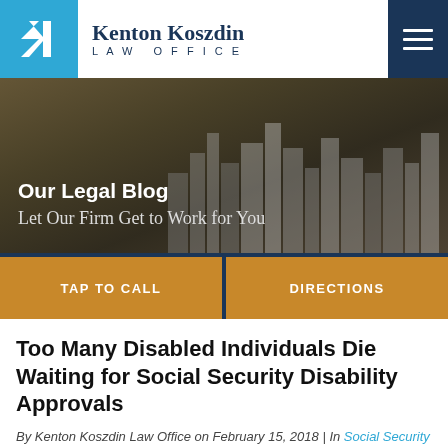Kenton Koszdin Law Office
[Figure (photo): City skyline background hero image with overlay text 'Our Legal Blog' and 'Let Our Firm Get to Work for You']
Our Legal Blog
Let Our Firm Get to Work for You
TAP TO CALL
DIRECTIONS
Too Many Disabled Individuals Die Waiting for Social Security Disability Approvals
By Kenton Koszdin Law Office on February 15, 2018 | In Social Security Disability